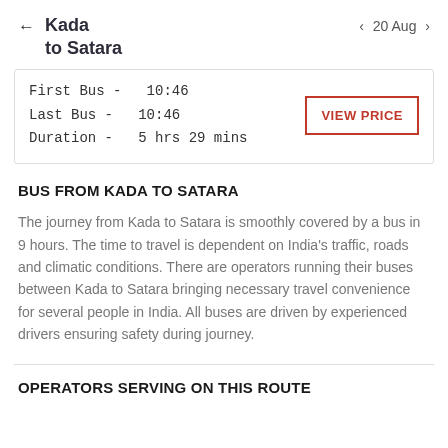Kada to Satara   20 Aug
| First Bus - | 10:46 |
| Last Bus - | 10:46 |
| Duration - | 5 hrs 29 mins |
VIEW PRICE
BUS FROM KADA TO SATARA
The journey from Kada to Satara is smoothly covered by a bus in 9 hours. The time to travel is dependent on India's traffic, roads and climatic conditions. There are operators running their buses between Kada to Satara bringing necessary travel convenience for several people in India. All buses are driven by experienced drivers ensuring safety during journey.
OPERATORS SERVING ON THIS ROUTE